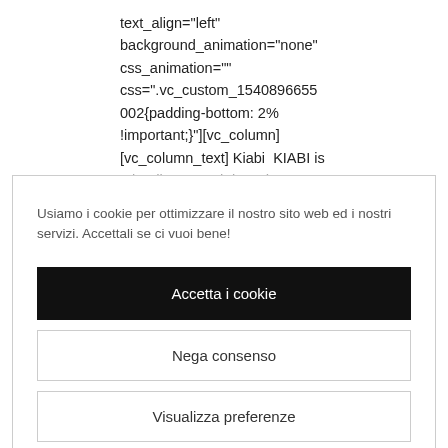text_align="left" background_animation="none" css_animation="" css=".vc_custom_1540896655002{padding-bottom: 2% !important;}")[vc_column] [vc_column_text] Kiabi   KIABI is a leading French brand
Usiamo i cookie per ottimizzare il nostro sito web ed i nostri servizi. Accettali se ci vuoi bene!
Accetta i cookie
Nega consenso
Visualizza preferenze
Politica dei cookie